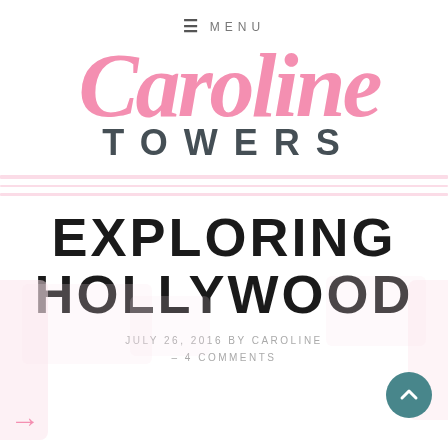≡  MENU
Caroline
TOWERS
EXPLORING HOLLYWOOD
JULY 26, 2016 BY CAROLINE – 4 COMMENTS